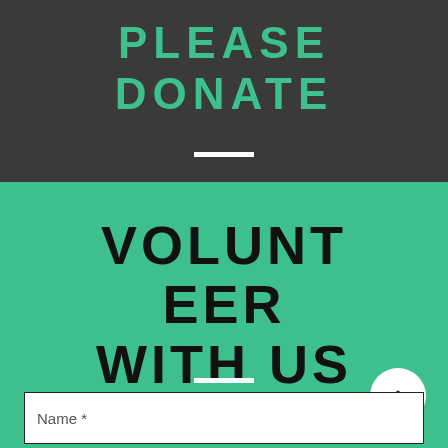PLEASE DONATE
VOLUNTEER WITH US
Name *
Email *